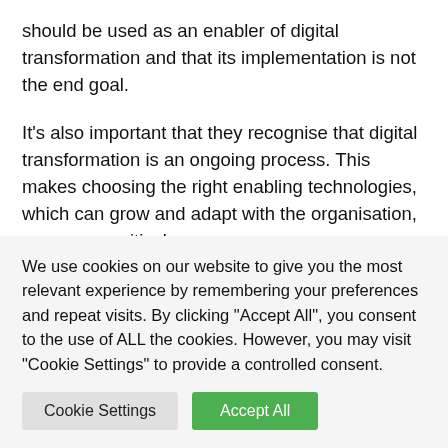should be used as an enabler of digital transformation and that its implementation is not the end goal.
It's also important that they recognise that digital transformation is an ongoing process. This makes choosing the right enabling technologies, which can grow and adapt with the organisation, even more critical.
In combination, the right approach to digital transformation and the right technologies will create a better customer
We use cookies on our website to give you the most relevant experience by remembering your preferences and repeat visits. By clicking "Accept All", you consent to the use of ALL the cookies. However, you may visit "Cookie Settings" to provide a controlled consent.